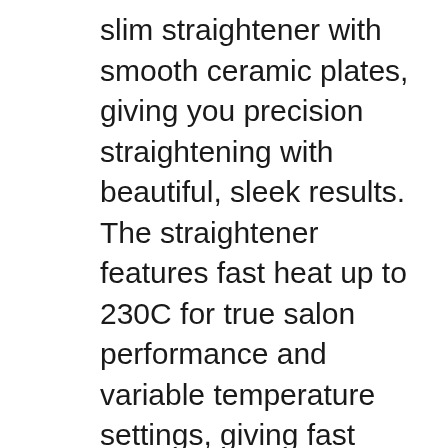slim straightener with smooth ceramic plates, giving you precision straightening with beautiful, sleek results. The straightener features fast heat up to 230C for true salon performance and variable temperature settings, giving fast results and makes it suitable for all hair types. The worldwide voltage ensures top performance at home or away. Show results for Tresemme ceramic styler 230 reviews on HairDryerStraighteners.org.uk. Cheap Deals on Hair dryer straighteners. Find the perfect Hair dryers and straighteners in the UK.
The TRESemme 2089TU ceramic